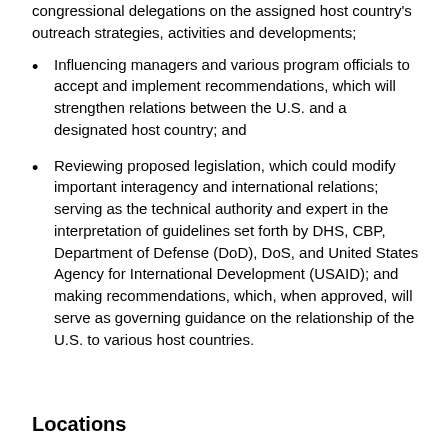congressional delegations on the assigned host country's outreach strategies, activities and developments;
Influencing managers and various program officials to accept and implement recommendations, which will strengthen relations between the U.S. and a designated host country; and
Reviewing proposed legislation, which could modify important interagency and international relations; serving as the technical authority and expert in the interpretation of guidelines set forth by DHS, CBP, Department of Defense (DoD), DoS, and United States Agency for International Development (USAID); and making recommendations, which, when approved, will serve as governing guidance on the relationship of the U.S. to various host countries.
Locations